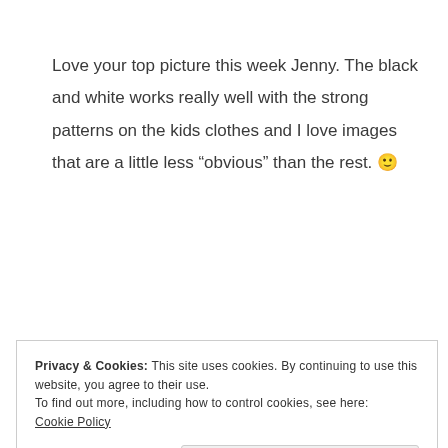Love your top picture this week Jenny. The black and white works really well with the strong patterns on the kids clothes and I love images that are a little less “obvious” than the rest. 🙂
Reply
Privacy & Cookies: This site uses cookies. By continuing to use this website, you agree to their use.
To find out more, including how to control cookies, see here: Cookie Policy
Close and accept